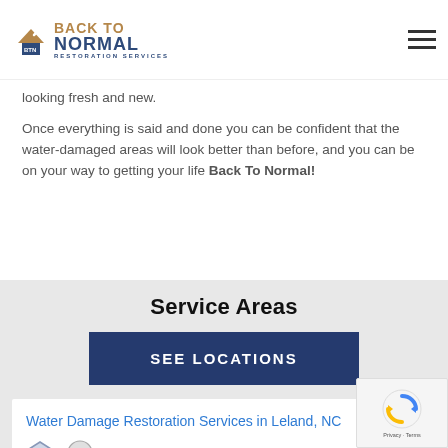BTN Back To Normal Restoration Services
looking fresh and new.
Once everything is said and done you can be confident that the water-damaged areas will look better than before, and you can be on your way to getting your life Back To Normal!
Service Areas
SEE LOCATIONS
Water Damage Restoration Services in Leland, NC